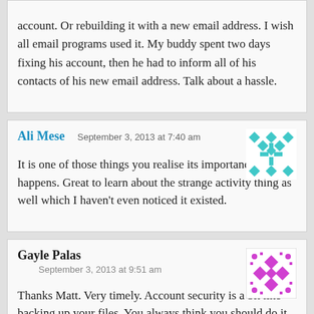account. Or rebuilding it with a new email address. I wish all email programs used it. My buddy spent two days fixing his account, then he had to inform all of his contacts of his new email address. Talk about a hassle.
Ali Mese
September 3, 2013 at 7:40 am
It is one of those things you realise its importance once it happens. Great to learn about the strange activity thing as well which I haven't even noticed it existed.
Gayle Palas
September 3, 2013 at 9:51 am
Thanks Matt. Very timely. Account security is a bit like backing up your files. You always think you should do it and then when you need it, are ever